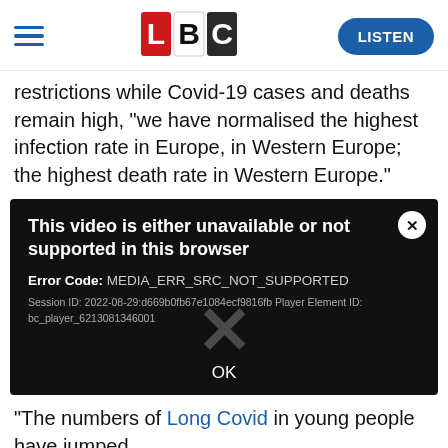LBC — LISTEN
restrictions while Covid-19 cases and deaths remain high, "we have normalised the highest infection rate in Europe, in Western Europe; the highest death rate in Western Europe."
[Figure (screenshot): Video player error overlay on dark background showing: 'This video is either unavailable or not supported in this browser', Error Code: MEDIA_ERR_SRC_NOT_SUPPORTED, Session ID: 2022-08-29:d669b0fb67e1084ecf9816fb Player Element ID: bc_player_6213081346001, with a large X watermark and OK button, and a close (×) button in top right corner.]
"The numbers of Long Covid in young people have jumped